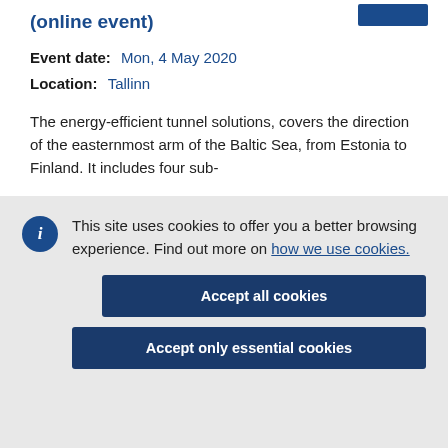(online event)
Event date:   Mon, 4 May 2020
Location:   Tallinn
The energy-efficient tunnel solutions, covers the direction of the easternmost arm of the Baltic Sea, from Estonia to Finland. It includes four sub-
This site uses cookies to offer you a better browsing experience. Find out more on how we use cookies.
Accept all cookies
Accept only essential cookies